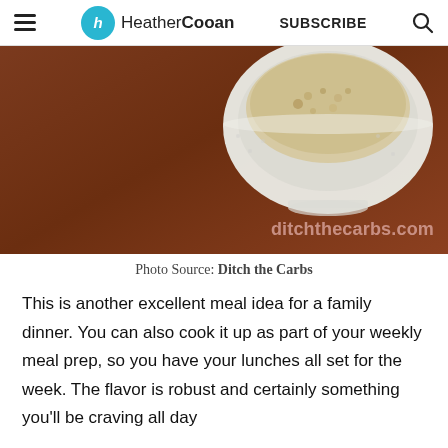h HeatherCooan  SUBSCRIBE 🔍
[Figure (photo): A white textured bowl containing a food item (appears to be porridge or cereal) on a dark reddish-brown wooden surface. A watermark reads 'ditchthecarbs.com' in the lower right corner.]
Photo Source: Ditch the Carbs
This is another excellent meal idea for a family dinner. You can also cook it up as part of your weekly meal prep, so you have your lunches all set for the week. The flavor is robust and certainly something you'll be craving all day